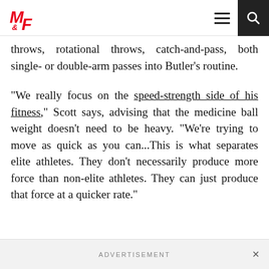M&F logo, hamburger menu, search icon
throws, rotational throws, catch-and-pass, both single- or double-arm passes into Butler's routine.
“We really focus on the speed-strength side of his fitness,” Scott says, advising that the medicine ball weight doesn’t need to be heavy. “We’re trying to move as quick as you can…This is what separates elite athletes. They don’t necessarily produce more force than non-elite athletes. They can just produce that force at a quicker rate.”
ADVERTISEMENT